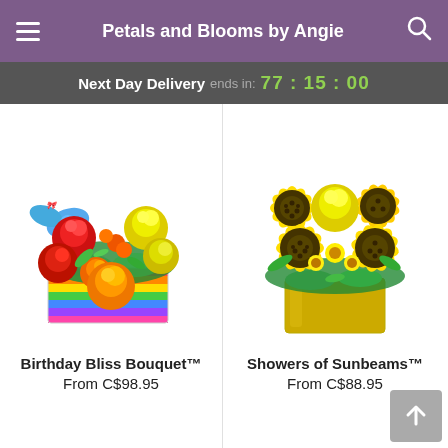Petals and Blooms by Angie
Next Day Delivery ends in: 77:15:00
[Figure (photo): Birthday Bliss Bouquet - colorful mixed flower arrangement with red roses, yellow roses, orange roses, orange alstroemeria, and a rainbow striped gift box with a blue bow cookie]
Birthday Bliss Bouquet™
From C$98.95
[Figure (photo): Showers of Sunbeams - sunflower arrangement with yellow sunflowers, yellow roses, and yellow daisy poms in a gold/yellow square vase]
Showers of Sunbeams™
From C$88.95